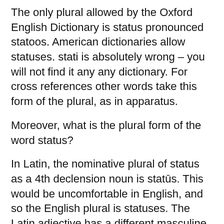The only plural allowed by the Oxford English Dictionary is status pronounced statoos. American dictionaries allow statuses. stati is absolutely wrong – you will not find it any any dictionary. For cross references other words take this form of the plural, as in apparatus.
Moreover, what is the plural form of the word status?
In Latin, the nominative plural of status as a 4th declension noun is statūs. This would be uncomfortable in English, and so the English plural is statuses. The Latin adjective has a different masculine nominative plural of statī, but then means something more like the English static.